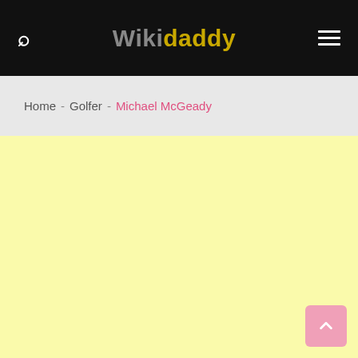Wikidaddy
Home - Golfer - Michael McGeady
[Figure (other): Yellow content area placeholder]